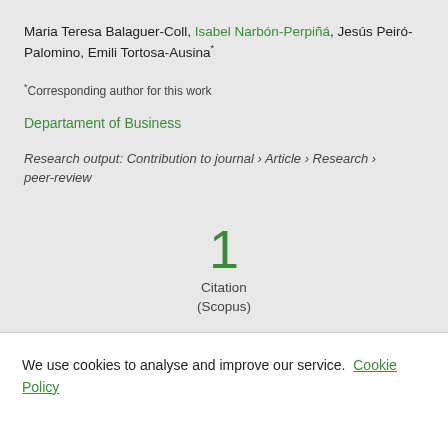Maria Teresa Balaguer-Coll, Isabel Narbón-Perpiñá, Jesús Peiró-Palomino, Emili Tortosa-Ausina* *Corresponding author for this work
Departament of Business
Research output: Contribution to journal › Article › Research › peer-review
1 Citation (Scopus)
We use cookies to analyse and improve our service. Cookie Policy